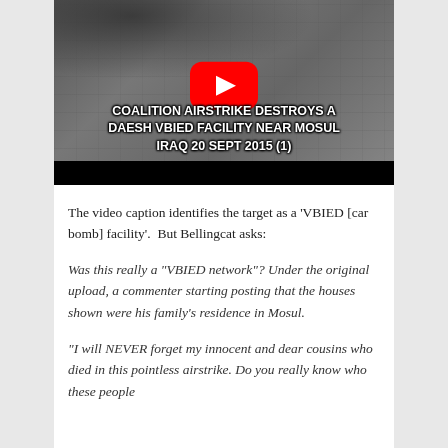[Figure (screenshot): YouTube video thumbnail showing aerial black-and-white footage of a coalition airstrike. A red YouTube play button is centered on the image. Text overlay reads: COALITION AIRSTRIKE DESTROYS A DAESH VBIED FACILITY NEAR MOSUL IRAQ 20 SEPT 2015 (1). A black bar appears at the bottom.]
The video caption identifies the target as a ‘VBIED [car bomb] facility’.  But Bellingcat asks:
Was this really a “VBIED network”? Under the original upload, a commenter starting posting that the houses shown were his family’s residence in Mosul.
“I will NEVER forget my innocent and dear cousins who died in this pointless airstrike. Do you really know who these people